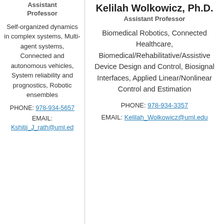Assistant Professor
Self-organized dynamics in complex systems, Multi-agent systems, Connected and autonomous vehicles, System reliability and prognostics, Robotic ensembles
PHONE: 978-934-5657
EMAIL: Kshitij_J_rath@uml.ed
Kelilah Wolkowicz, Ph.D.
Assistant Professor
Biomedical Robotics, Connected Healthcare, Biomedical/Rehabilitative/Assistive Device Design and Control, Biosignal Interfaces, Applied Linear/Nonlinear Control and Estimation
PHONE: 978-934-3357
EMAIL: Kelilah_Wolkowicz@uml.edu